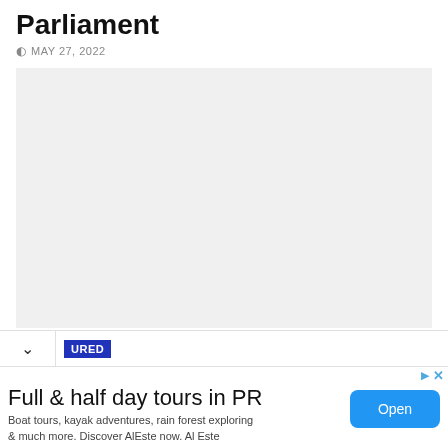Parliament
MAY 27, 2022
[Figure (other): Gray placeholder image area for an article about Parliament]
URED
Full & half day tours in PR
Boat tours, kayak adventures, rain forest exploring & much more. Discover AlEste now. Al Este
Open